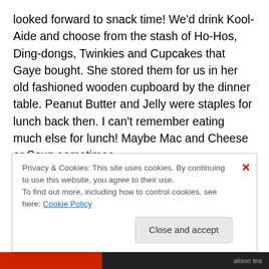looked forward to snack time!  We'd drink Kool-Aide and choose from the stash of Ho-Hos, Ding-dongs, Twinkies and Cupcakes that Gaye bought.  She stored them for us in her old fashioned wooden cupboard by the dinner table.  Peanut Butter and Jelly were staples for lunch back then.  I can't remember eating much else for lunch!  Maybe Mac and Cheese or Soup sometimes.

I used to make up magic shows to entertain my cousins and their friends.  My favorite was disappearing in the closet.  At the right angle it looked like I'd disappeared
Privacy & Cookies: This site uses cookies. By continuing to use this website, you agree to their use.
To find out more, including how to control cookies, see here: Cookie Policy
Close and accept